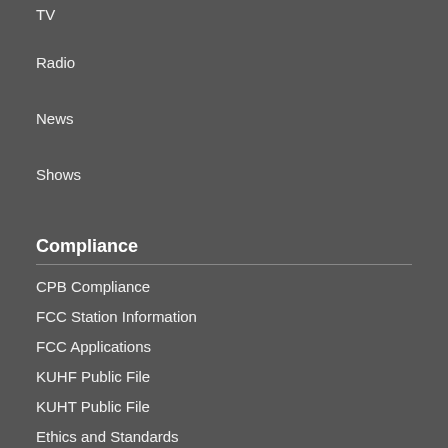TV
Radio
News
Shows
Compliance
CPB Compliance
FCC Station Information
FCC Applications
KUHF Public File
KUHT Public File
Ethics and Standards
Privacy Policy